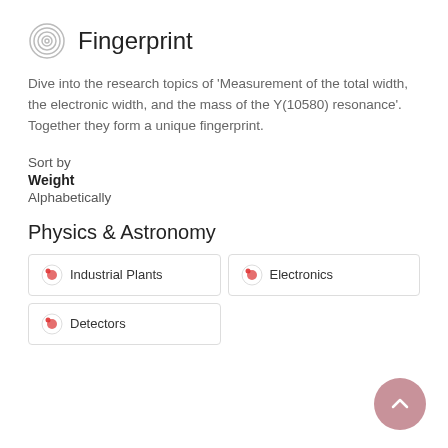Fingerprint
Dive into the research topics of 'Measurement of the total width, the electronic width, and the mass of the Y(10580) resonance'. Together they form a unique fingerprint.
Sort by
Weight
Alphabetically
Physics & Astronomy
Industrial Plants
Electronics
Detectors